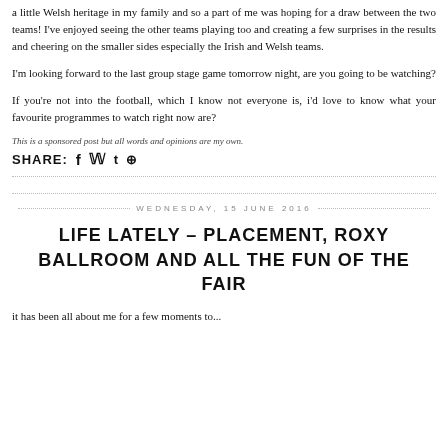a little Welsh heritage in my family and so a part of me was hoping for a draw between the two teams! I've enjoyed seeing the other teams playing too and creating a few surprises in the results and cheering on the smaller sides especially the Irish and Welsh teams.
I'm looking forward to the last group stage game tomorrow night, are you going to be watching?
If you're not into the football, which I know not everyone is, i'd love to know what your favourite programmes to watch right now are?
This is a sponsored post but all words and opinions are my own.
SHARE: f t p
WEDNESDAY, 15 JUNE 2016
LIFE LATELY – PLACEMENT, ROXY BALLROOM AND ALL THE FUN OF THE FAIR
it has been all about me for a few moments to...